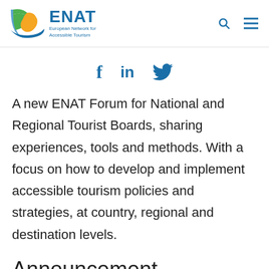ENAT — European Network for Accessible Tourism
[Figure (other): Social media share icons: Facebook (f), LinkedIn (in), Twitter (bird)]
A new ENAT Forum for National and Regional Tourist Boards, sharing experiences, tools and methods. With a focus on how to develop and implement accessible tourism policies and strategies, at country, regional and destination levels.
Announcement